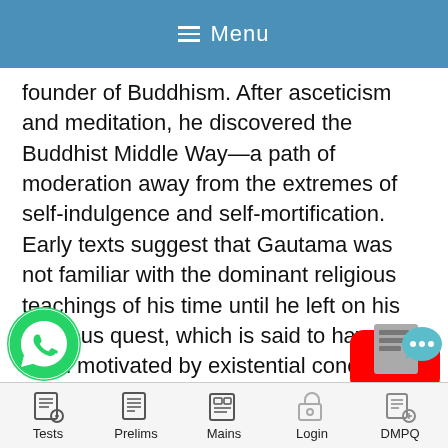Menu
founder of Buddhism. After asceticism and meditation, he discovered the Buddhist Middle Way—a path of moderation away from the extremes of self-indulgence and self-mortification. Early texts suggest that Gautama was not familiar with the dominant religious teachings of his time until he left on his religious quest, which is said to have been motivated by existential concern for the human condition.
Siddhartha was born in a royal Hindu atriya family. The Buddha's father was g Śuddhodana, the leader of Shakya cla
[Figure (logo): YouTube play button logo in red]
[Figure (logo): WhatsApp phone icon in green circle]
[Figure (logo): Chat bubble with dots overlay on grey document icon]
Tests   Prelims   Mains   Login   DMPQ